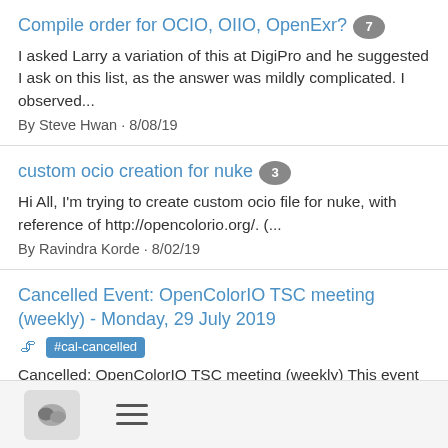Compile order for OCIO, OIIO, OpenExr? [7]
I asked Larry a variation of this at DigiPro and he suggested I ask on this list, as the answer was mildly complicated. I observed...
By Steve Hwan · 8/08/19
custom ocio creation for nuke [3]
Hi All, I'm trying to create custom ocio file for nuke, with reference of http://opencolorio.org/. (...
By Ravindra Korde · 8/02/19
Cancelled Event: OpenColorIO TSC meeting (weekly) - Monday, 29 July 2019 [attachment] #cal-cancelled
Cancelled: OpenColorIO TSC meeting (weekly) This event has been cancelled. When: Monday, 29 July 2019 9:30am to...
By ocio-dev@lists.aswf.io Calendar · 7/26/19
TruelightTransform? [8]
As a general poll, is anyone out there using OCIO's TruelightTransform? The question of whether this functionality...